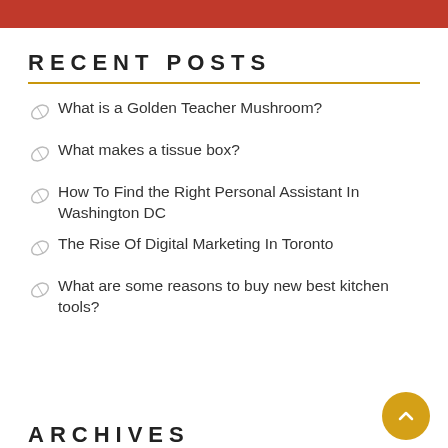[Figure (photo): Partial photo of a person wearing a red shirt, cropped at the top of the page]
RECENT POSTS
What is a Golden Teacher Mushroom?
What makes a tissue box?
How To Find the Right Personal Assistant In Washington DC
The Rise Of Digital Marketing In Toronto
What are some reasons to buy new best kitchen tools?
ARCHIVES